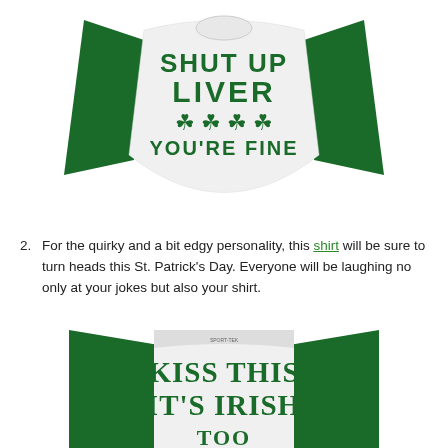[Figure (photo): A white raglan baseball-style shirt with dark green 3/4 sleeves. On the chest in bold green letters: 'SHUT UP LIVER' with four green shamrock/clover symbols below and 'YOU'RE FINE' underneath.]
2. For the quirky and a bit edgy personality, this shirt will be sure to turn heads this St. Patrick's Day. Everyone will be laughing no only at your jokes but also your shirt.
[Figure (photo): A white raglan baseball-style shirt with dark green 3/4 sleeves. On the chest in bold green letters: 'KISS THIS IT'S IRISH' (text cut off at bottom).]